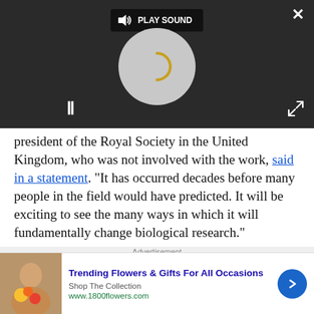[Figure (screenshot): Dark media player overlay with 'PLAY SOUND' button at top, circular spinner in center, pause button (II) at bottom left, close (X) button top right, expand button bottom right]
president of the Royal Society in the United Kingdom, who was not involved with the work, said in a statement. "It has occurred decades before many people in the field would have predicted. It will be exciting to see the many ways in which it will fundamentally change biological research."
Advertisement
[Figure (infographic): Advertisement banner: 'Trending Flowers & Gifts For All Occasions' from 1800flowers.com with photo of woman holding flowers and blue arrow button]